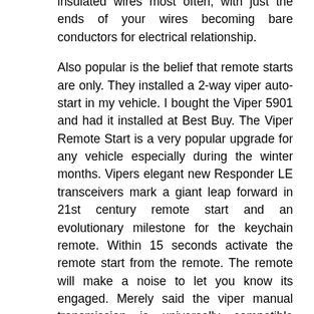insulated wires most often, with just the ends of your wires becoming bare conductors for electrical relationship.
Also popular is the belief that remote starts are only. They installed a 2-way viper auto-start in my vehicle. I bought the Viper 5901 and had it installed at Best Buy. The Viper Remote Start is a very popular upgrade for any vehicle especially during the winter months. Vipers elegant new Responder LE transceivers mark a giant leap forward in 21st century remote start and an evolutionary milestone for the keychain remote. Within 15 seconds activate the remote start from the remote. The remote will make a noise to let you know its engaged. Merely said the viper manual transmission is universally compatible subsequently any devices to read. Here is how it works. Arm the alarm the vehicle should shut off when arming the system.